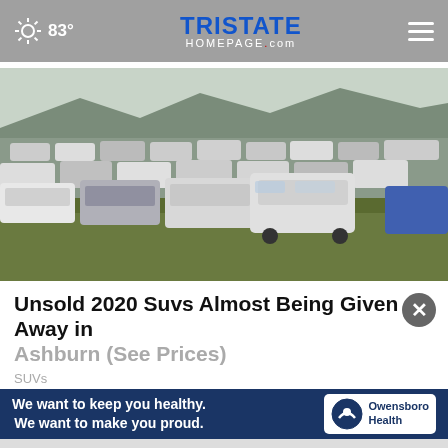83° TRISTATE HOMEPAGE.com
[Figure (photo): Large field filled with hundreds of unsold SUVs and trucks parked in tall grass with mountains in the background]
Unsold 2020 Suvs Almost Being Given Away in Ashburn (See Prices)
We want to keep you healthy. We want to make you proud. Owensboro Health